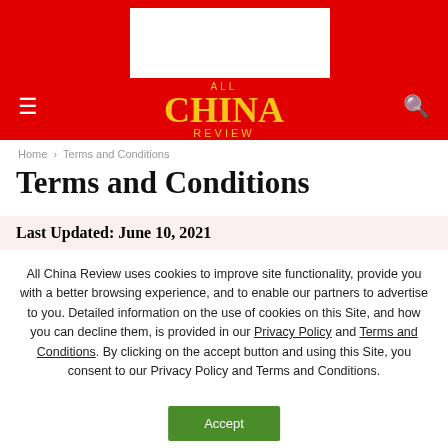[Figure (logo): All China Review website header with red background, white ad rectangle, hamburger menu, search icon, and 'ALL CHINA REVIEW' logo in gold text]
Home › Terms and Conditions
Terms and Conditions
Last Updated: June 10, 2021
All China Review uses cookies to improve site functionality, provide you with a better browsing experience, and to enable our partners to advertise to you. Detailed information on the use of cookies on this Site, and how you can decline them, is provided in our Privacy Policy and Terms and Conditions. By clicking on the accept button and using this Site, you consent to our Privacy Policy and Terms and Conditions.